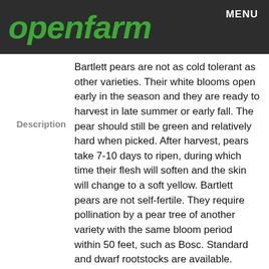openfarm   MENU
Description
Bartlett pears are not as cold tolerant as other varieties. Their white blooms open early in the season and they are ready to harvest in late summer or early fall. The pear should still be green and relatively hard when picked. After harvest, pears take 7-10 days to ripen, during which time their flesh will soften and the skin will change to a soft yellow. Bartlett pears are not self-fertile. They require pollination by a pear tree of another variety with the same bloom period within 50 feet, such as Bosc. Standard and dwarf rootstocks are available. Standard sized trees can grow to 6 meters. Depending on the size chosen, the tree will bear fruit within 4-6 years of planting.